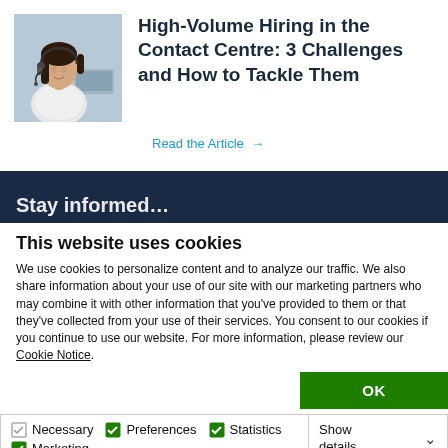[Figure (photo): Woman with headset working at a computer in an office setting]
High-Volume Hiring in the Contact Centre: 3 Challenges and How to Tackle Them
Read the Article →
Stay informed…
This website uses cookies
We use cookies to personalize content and to analyze our traffic. We also share information about your use of our site with our marketing partners who may combine it with other information that you've provided to them or that they've collected from your use of their services. You consent to our cookies if you continue to use our website. For more information, please review our Cookie Notice.
OK
Necessary  Preferences  Statistics  Marketing  Show details